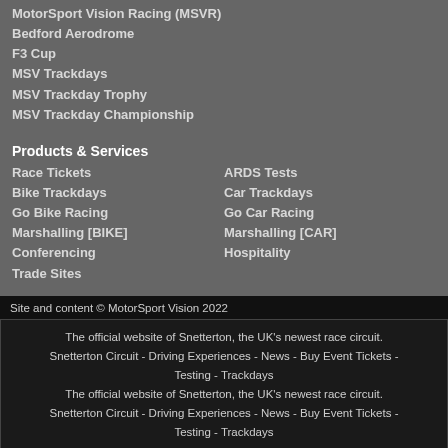MotorSport Vision Racing (MSVR)
Bedford Aerodrome
F3 Cup
MSV Trackdays
MSV Trackday Trophy
MSV Trackday Championship
Products & Services
Race Tickets
ARDS Tests
Bike Trackdays
Car Trackdays
Go Bike Racing
Go Car Racing
Marshalling [BIKE]
Marshalling [CAR]
Conferencing
Hospitality
Trade Sites
Site and content © MotorSport Vision 2022
The official website of Snetterton, the UK's newest race circuit. Snetterton Circuit - Driving Experiences - News - Buy Event Tickets - Testing - Trackdays The official website of Snetterton, the UK's newest race circuit. Snetterton Circuit - Driving Experiences - News - Buy Event Tickets - Testing - Trackdays